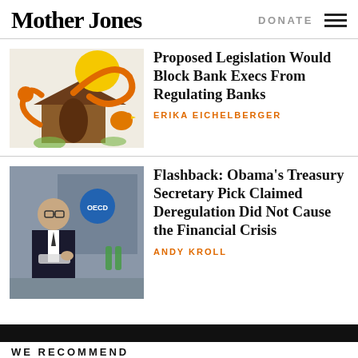Mother Jones
DONATE
Proposed Legislation Would Block Bank Execs From Regulating Banks
ERIKA EICHELBERGER
[Figure (illustration): Cartoon illustration of a bird/fox character with a doghouse]
Flashback: Obama’s Treasury Secretary Pick Claimed Deregulation Did Not Cause the Financial Crisis
ANDY KROLL
[Figure (photo): Photo of a man in a suit speaking at an OECD event]
WE RECOMMEND